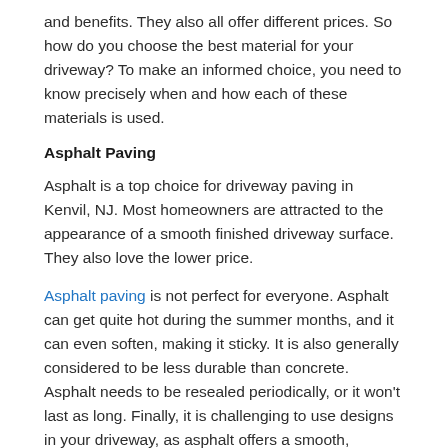and benefits. They also all offer different prices. So how do you choose the best material for your driveway? To make an informed choice, you need to know precisely when and how each of these materials is used.
Asphalt Paving
Asphalt is a top choice for driveway paving in Kenvil, NJ. Most homeowners are attracted to the appearance of a smooth finished driveway surface. They also love the lower price.
Asphalt paving is not perfect for everyone. Asphalt can get quite hot during the summer months, and it can even soften, making it sticky. It is also generally considered to be less durable than concrete. Asphalt needs to be resealed periodically, or it won't last as long. Finally, it is challenging to use designs in your driveway, as asphalt offers a smooth, uniform surface.